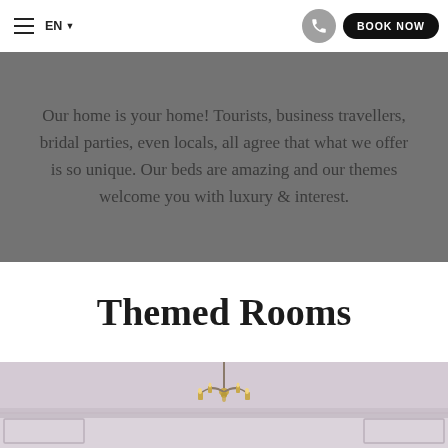EN | BOOK NOW
Our home is your home! Tourists, business travellers, bridal parties, even locals, all agree that what we offer is so unique. Our beds are amazing and our themes welcome you with luxury & interest.
Themed Rooms
[Figure (photo): Interior room photo showing a chandelier on a white/lavender ceiling with white wainscoting walls]